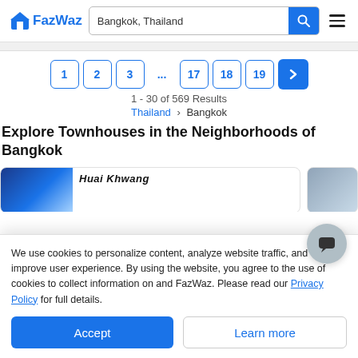FazWaz — Bangkok, Thailand — search bar — menu
[Figure (screenshot): FazWaz website header with logo, search bar showing 'Bangkok, Thailand', blue search button, and hamburger menu]
1 - 30 of 569 Results
Thailand > Bangkok
Explore Townhouses in the Neighborhoods of Bangkok
[Figure (photo): Partial view of neighborhood card: Huai Khwang with blue gradient image]
We use cookies to personalize content, analyze website traffic, and to improve user experience. By using the website, you agree to the use of cookies to collect information on and FazWaz. Please read our Privacy Policy for full details.
Accept
Learn more